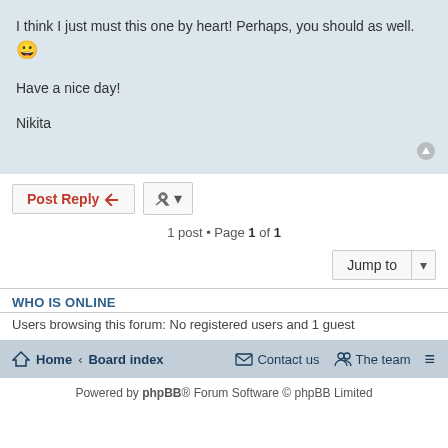I think I just must this one by heart! Perhaps, you should as well. 😀
Have a nice day!
Nikita
Post Reply
1 post • Page 1 of 1
Jump to
WHO IS ONLINE
Users browsing this forum: No registered users and 1 guest
Home · Board index   Contact us   The team
Powered by phpBB® Forum Software © phpBB Limited